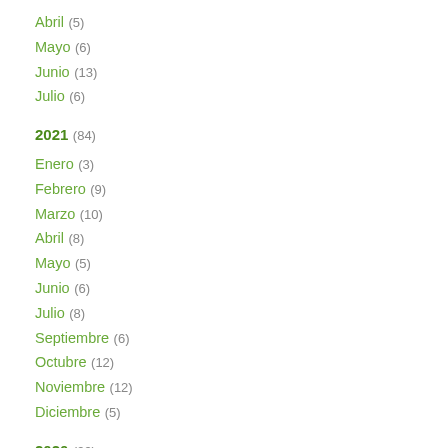Abril (5)
Mayo (6)
Junio (13)
Julio (6)
2021 (84)
Enero (3)
Febrero (9)
Marzo (10)
Abril (8)
Mayo (5)
Junio (6)
Julio (8)
Septiembre (6)
Octubre (12)
Noviembre (12)
Diciembre (5)
2020 (99)
Enero (3)